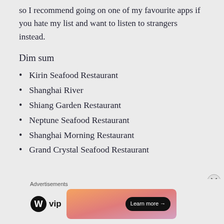so I recommend going on one of my favourite apps if you hate my list and want to listen to strangers instead.
Dim sum
Kirin Seafood Restaurant
Shanghai River
Shiang Garden Restaurant
Neptune Seafood Restaurant
Shanghai Morning Restaurant
Grand Crystal Seafood Restaurant
[Figure (screenshot): Advertisements banner with WordPress VIP logo and an orange-pink gradient Learn more button]